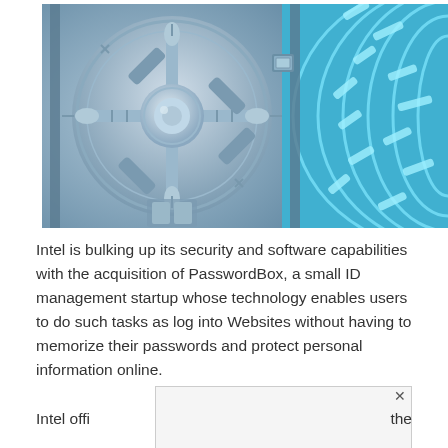[Figure (photo): A bank vault door with a circular combination lock mechanism in steel/chrome finish, overlaid with a digital fingerprint/circuit pattern in blue on the right side.]
Intel is bulking up its security and software capabilities with the acquisition of PasswordBox, a small ID management startup whose technology enables users to do such tasks as log into Websites without having to memorize their passwords and protect personal information online.
Intel offi                                          the